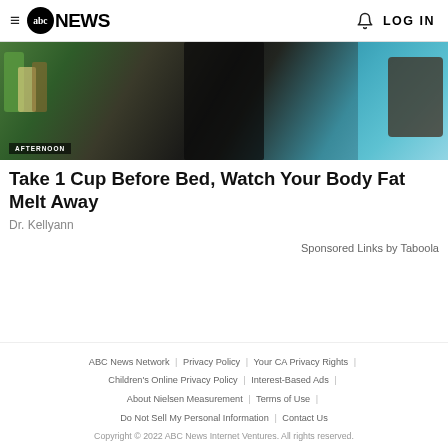≡ abc NEWS  🔔  LOG IN
[Figure (photo): A TV cooking/health segment showing drinks, food items, and two people at a table with 'AFTERNOON' chyron overlay]
Take 1 Cup Before Bed, Watch Your Body Fat Melt Away
Dr. Kellyann
Sponsored Links by Taboola
ABC News Network | Privacy Policy | Your CA Privacy Rights | Children's Online Privacy Policy | Interest-Based Ads | About Nielsen Measurement | Terms of Use | Do Not Sell My Personal Information | Contact Us
Copyright © 2022 ABC News Internet Ventures. All rights reserved.